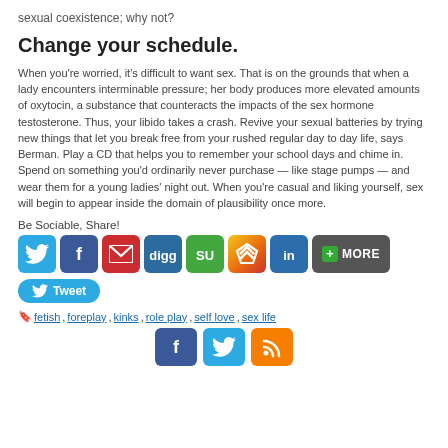sexual coexistence; why not?
Change your schedule.
When you're worried, it's difficult to want sex. That is on the grounds that when a lady encounters interminable pressure; her body produces more elevated amounts of oxytocin, a substance that counteracts the impacts of the sex hormone testosterone. Thus, your libido takes a crash. Revive your sexual batteries by trying new things that let you break free from your rushed regular day to day life, says Berman. Play a CD that helps you to remember your school days and chime in. Spend on something you'd ordinarily never purchase — like stage pumps — and wear them for a young ladies' night out. When you're casual and liking yourself, sex will begin to appear inside the domain of plausibility once more.
Be Sociable, Share!
[Figure (infographic): Row of social sharing icon buttons: Twitter (blue bird), Facebook (blue f), Mail (red envelope), Digg (blue), StumbleUpon (green SU), Google Buzz (orange/yellow), LinkedIn (teal in), and a dark More button with + icon]
[Figure (infographic): Blue Tweet button with bird icon]
fetish, foreplay, kinks, role play, self love, sex life
[Figure (infographic): Row of three bottom social icons: Facebook (blue), Twitter (teal), RSS (orange)]